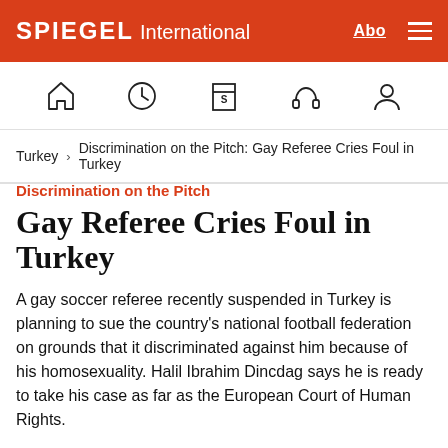SPIEGEL International | Abo
[Figure (infographic): Icon navigation bar with home, clock, magazine, headphones, and user icons]
Turkey > Discrimination on the Pitch: Gay Referee Cries Foul in Turkey
Discrimination on the Pitch
Gay Referee Cries Foul in Turkey
A gay soccer referee recently suspended in Turkey is planning to sue the country's national football federation on grounds that it discriminated against him because of his homosexuality. Halil Ibrahim Dincdag says he is ready to take his case as far as the European Court of Human Rights.
Von Daniel Steinvorth